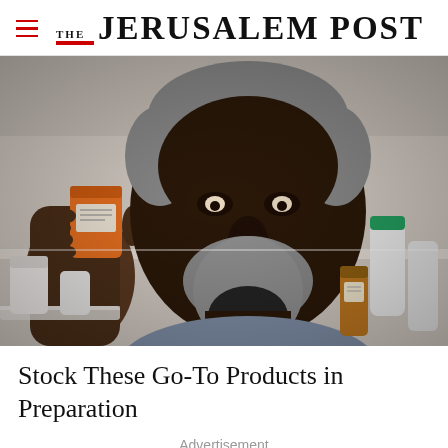THE JERUSALEM POST
[Figure (photo): An older Black man with gray hair and a gray beard holding up an orange prescription medicine bottle, examining it. Other medicine bottles are visible in the background on a shelf.]
Stock These Go-To Products in Preparation
Advertisement